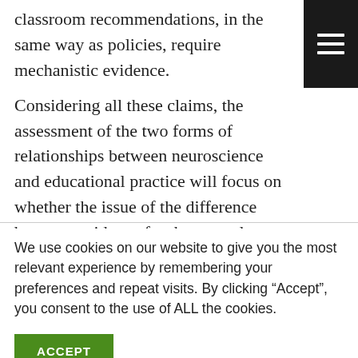classroom recommendations, in the same way as policies, require mechanistic evidence.
Considering all these claims, the assessment of the two forms of relationships between neuroscience and educational practice will focus on whether the issue of the difference between evidence for theory and evidence for practice is accounted for and if the results from neuroscience can be considered as mechanistic evidence.
We use cookies on our website to give you the most relevant experience by remembering your preferences and repeat visits. By clicking “Accept”, you consent to the use of ALL the cookies.